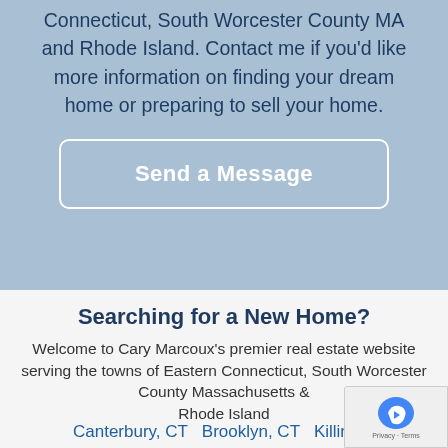Connecticut, South Worcester County MA and Rhode Island. Contact me if you'd like more information on finding your dream home or preparing to sell your home.
[Figure (other): Send a Message button with rounded rectangle border on blue background]
Searching for a New Home?
Welcome to Cary Marcoux's premier real estate website serving the towns of Eastern Connecticut, South Worcester County Massachusetts & Rhode Island
Canterbury, CT  Brooklyn, CT  Killingly,